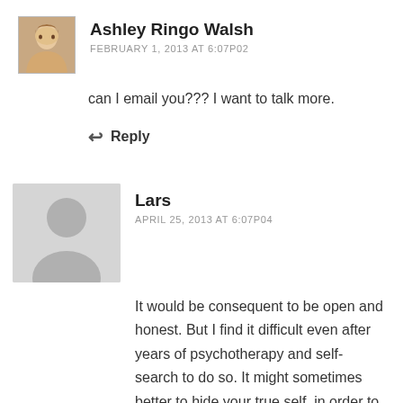[Figure (photo): Small square avatar photo of Ashley Ringo Walsh, a woman with light hair]
Ashley Ringo Walsh
FEBRUARY 1, 2013 AT 6:07P02
can I email you??? I want to talk more.
↩ Reply
[Figure (illustration): Generic gray silhouette avatar placeholder for Lars]
Lars
APRIL 25, 2013 AT 6:07P04
It would be consequent to be open and honest. But I find it difficult even after years of psychotherapy and self-search to do so. It might sometimes better to hide your true self, in order to protect your inner child. Thank you for being so open and to share your inner world with others. I'm really curious what adventures are lurking behind